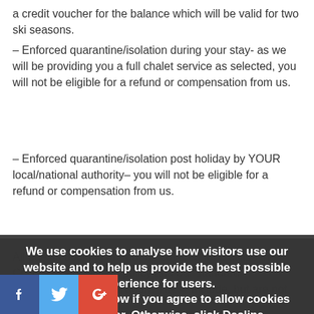a credit voucher for the balance which will be valid for two ski seasons.
– Enforced quarantine/isolation during your stay – as we will be providing you a full chalet service as selected, you will not be eligible for a refund or compensation from us.
– Enforced quarantine/isolation post holiday by YOUR local/national authority– you will not be eligible for a refund or compensation from us.
All guests booking are not be covered for... utilise the Covid-19 cancellation policy and our standard cancellation policy will apply. These include, but are not limited to:
– an unwillingness to travel (when travel is allowed in the above circumstances)
– an inability to travel... reasons (including to Covid-19... should be ... under travel insurance policies and you are
We use cookies to analyse how visitors use our website and to help us provide the best possible experience for users.
Click Accept below if you agree to allow cookies from Ski Hiver. Otherwise, click Decline.
[Figure (other): Cookie consent modal with Decline and Accept buttons over dark overlay]